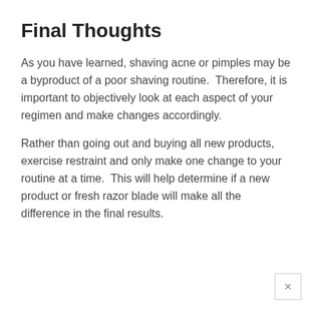Final Thoughts
As you have learned, shaving acne or pimples may be a byproduct of a poor shaving routine.  Therefore, it is important to objectively look at each aspect of your regimen and make changes accordingly.
Rather than going out and buying all new products, exercise restraint and only make one change to your routine at a time.  This will help determine if a new product or fresh razor blade will make all the difference in the final results.